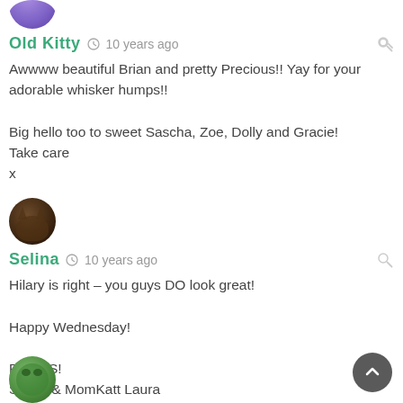[Figure (photo): Purple avatar circle for Old Kitty user]
Old Kitty  10 years ago
Awwww beautiful Brian and pretty Precious!! Yay for your adorable whisker humps!!

Big hello too to sweet Sascha, Zoe, Dolly and Gracie!
Take care
x
[Figure (photo): Dark brown avatar circle for Selina user]
Selina  10 years ago
Hilary is right – you guys DO look great!

Happy Wednesday!

PURRS!
Selina & MomKatt Laura
[Figure (photo): Green avatar circle for third commenter]